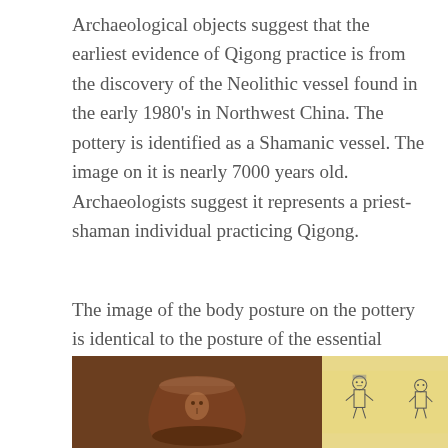Archaeological objects suggest that the earliest evidence of Qigong practice is from the discovery of the Neolithic vessel found in the early 1980's in Northwest China. The pottery is identified as a Shamanic vessel. The image on it is nearly 7000 years old. Archaeologists suggest it represents a priest-shaman individual practicing Qigong.
The image of the body posture on the pottery is identical to the posture of the essential (Dantien) Qigong practice. Qigong historians contend that the priest-shamans were the earliest Qigong masters.
[Figure (photo): Left: Photo of a brown pottery vessel (Neolithic). Right: Illustration on yellowish background showing a figure in Qigong posture and another figure.]